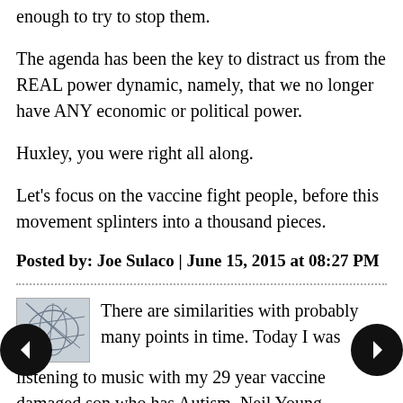enough to try to stop them.
The agenda has been the key to distract us from the REAL power dynamic, namely, that we no longer have ANY economic or political power.
Huxley, you were right all along.
Let's focus on the vaccine fight people, before this movement splinters into a thousand pieces.
Posted by: Joe Sulaco | June 15, 2015 at 08:27 PM
There are similarities with probably many points in time. Today I was listening to music with my 29 year vaccine damaged son who has Autism. Neil Young